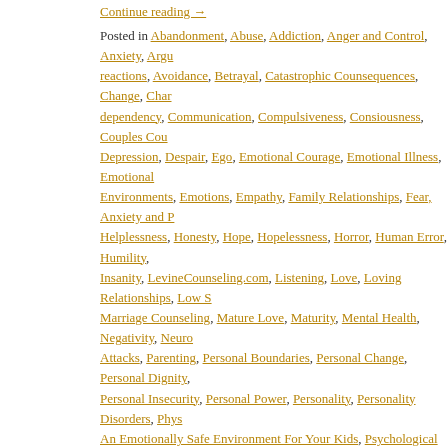Continue reading →
Posted in Abandonment, Abuse, Addiction, Anger and Control, Anxiety, Argumentative reactions, Avoidance, Betrayal, Catastrophic Counsequences, Change, Characteristic dependency, Communication, Compulsiveness, Consiousness, Couples Counseling, Depression, Despair, Ego, Emotional Courage, Emotional Illness, Emotional Environments, Emotions, Empathy, Family Relationships, Fear, Anxiety and Phobias, Helplessness, Honesty, Hope, Hopelessness, Horror, Human Error, Humility, Insanity, LevineCounseling.com, Listening, Love, Loving Relationships, Low Self Esteem, Marriage Counseling, Mature Love, Maturity, Mental Health, Negativity, Neurotic Panic Attacks, Parenting, Personal Boundaries, Personal Change, Personal Dignity, Personal Insecurity, Personal Power, Personality, Personality Disorders, Physical Safety, An Emotionally Safe Environment For Your Kids, Psychological Abuse, Rejection, Relationships, Responsibility, Self Image, Setting Limits, Sexual Abuse, Sexual Abuse, Uncategorized, Violence and Aggression, Work Relationships, Wounded Children
Leave a comment
Commitment: The Gift That Keeps Giving!
Posted on December 19, 2016 by Jeff Levine
As we move quickly toward the season of New Year's resolutions, I'm moved to write a personal post, I shared my recent experience with open heart surgery as a meta... Continue reading →
Posted in Addiction, Abuse, Anger and Control, Anxiety, Argumentative reactions, Avoidance...